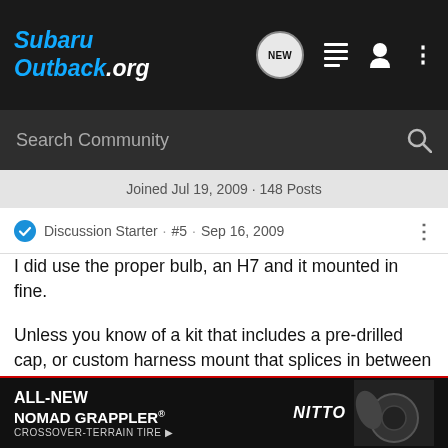SubaruOutback.org
Search Community
Joined Jul 19, 2009 · 148 Posts
Discussion Starter · #5 · Sep 16, 2009
I did use the proper bulb, an H7 and it mounted in fine.
Unless you know of a kit that includes a pre-drilled cap, or custom harness mount that splices in between the stock male and female receptacles at the headlight assembly specifically for this Subaru (which there isn't) there is no way around this. If there was such a kit it would be multiple times more expensive than a typical assembly.
Not to be rude but I don't think you understand what is involved with a H
[Figure (other): Advertisement banner for ALL-NEW NOMAD GRAPPLER CROSSOVER-TERRAIN TIRE by Nitto]